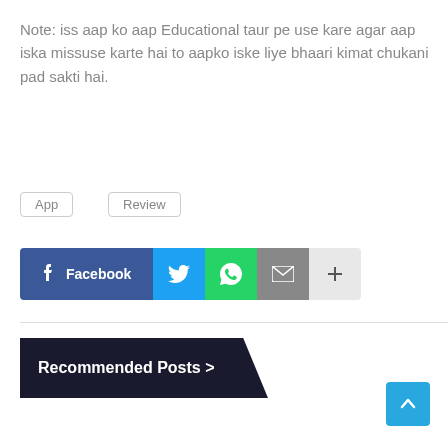Note: iss aap ko aap Educational taur pe use kare agar aap iska missuse karte hai to aapko iske liye bhaari kimat chukani pad sakti hai.
App
Review
[Figure (infographic): Social share buttons: Facebook (dark blue), Twitter (blue bird icon), WhatsApp (green), Email (grey envelope), More (light grey plus)]
Recommended Posts >